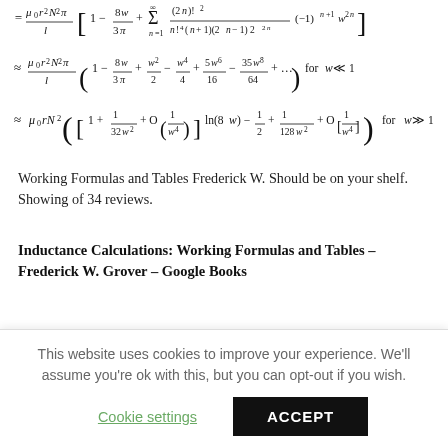Working Formulas and Tables Frederick W. Should be on your shelf. Showing of 34 reviews.
Inductance Calculations: Working Formulas and Tables – Frederick W. Grover – Google Books
It features a single simple formula for virtually every type of inductor, together with tables from which essential numerical factors may be interpolated. Additional topics include the
This website uses cookies to improve your experience. We'll assume you're ok with this, but you can opt-out if you wish.
Cookie settings
ACCEPT